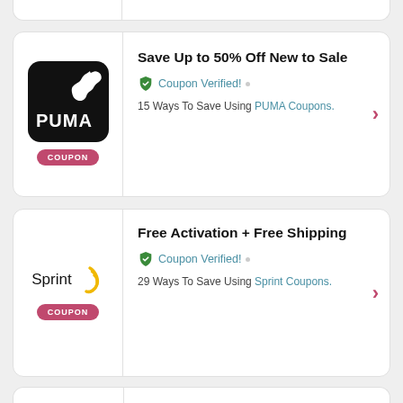[Figure (logo): Partial card top strip with vertical divider]
[Figure (logo): PUMA logo - black rounded square with white puma cat and PUMA text]
Save Up to 50% Off New to Sale
Coupon Verified! • 15 Ways To Save Using PUMA Coupons.
[Figure (logo): Sprint logo with yellow spark/swoosh graphic]
Free Activation + Free Shipping
Coupon Verified! • 29 Ways To Save Using Sprint Coupons.
[Figure (illustration): Pink scissors / coupon cut icon]
Get Economy Brake Service Package for $119.99 | Ends 8/31